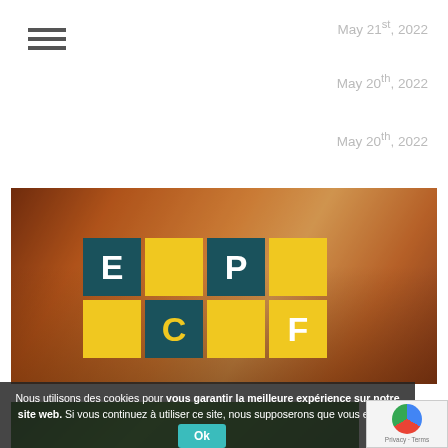[Figure (screenshot): Hamburger menu icon (three horizontal lines) at top left]
May 21st, 2022
May 20th, 2022
May 20th, 2022
[Figure (illustration): ECPF logo banner with orange-tinted city crowd background. E and P letters on dark teal tiles, C on yellow tile, F on yellow tile arranged in 2x2 grid.]
Nous utilisons des cookies pour vous garantir la meilleure expérience sur notre site web. Si vous continuez à utiliser ce site, nous supposerons que vous en êtes satisfait.
[Figure (logo): reCAPTCHA badge with Privacy and Terms labels]
[Figure (photo): Green-tinted photo strip at bottom]